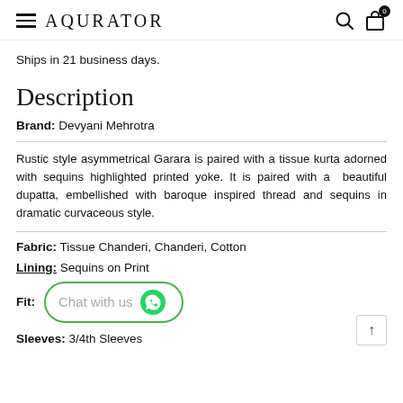AQURATOR
Ships in 21 business days.
Description
Brand: Devyani Mehrotra
Rustic style asymmetrical Garara is paired with a tissue kurta adorned with sequins highlighted printed yoke. It is paired with a  beautiful dupatta, embellished with baroque inspired thread and sequins in dramatic curvaceous style.
Fabric: Tissue Chanderi, Chanderi, Cotton
Lining: Sequins on Print
Fit:
Sleeves: 3/4th Sleeves